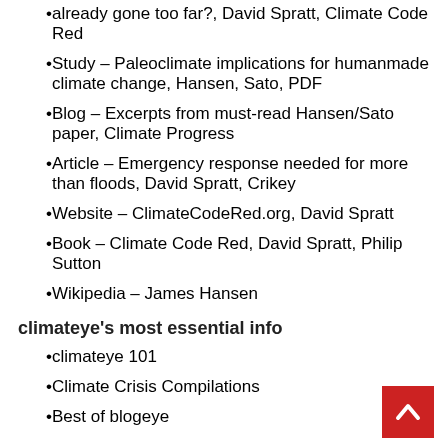already gone too far?, David Spratt, Climate Code Red
Study – Paleoclimate implications for humanmade climate change, Hansen, Sato, PDF
Blog – Excerpts from must-read Hansen/Sato paper, Climate Progress
Article – Emergency response needed for more than floods, David Spratt, Crikey
Website – ClimateCodeRed.org, David Spratt
Book – Climate Code Red, David Spratt, Philip Sutton
Wikipedia – James Hansen
climateye's most essential info
climateye 101
Climate Crisis Compilations
Best of blogeye